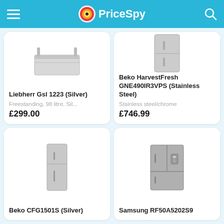PriceSpy
[Figure (screenshot): Product card - Liebherr Gsl 1223 (Silver) fridge freezer image, Freestanding, 98 litre, Sil..., £299.00]
[Figure (screenshot): Product card - Beko HarvestFresh GNE490IR3VPS (Stainless Steel) fridge, Stainless steel/chrome, £746.99]
[Figure (screenshot): Product card - Beko CFG1501S (Silver) fridge freezer image]
[Figure (screenshot): Product card - Samsung RF50A5202S9 fridge image]